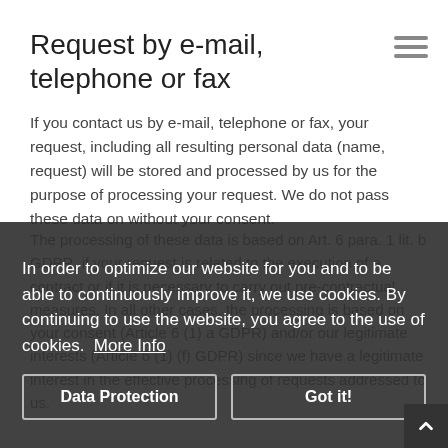Request by e-mail, telephone or fax
If you contact us by e-mail, telephone or fax, your request, including all resulting personal data (name, request) will be stored and processed by us for the purpose of processing your request. We do not pass these data on without your consent.
The processing of these data is based on Art. 6 para. 1 lit. b GDPR, if your request is related to the execution of a contract or if it is necessary to carry out pre-contractual measures. In all other cases, the processing is based on your consent (Article 6 (1) a GDPR) and/or our legitimate interests (Article 6 (1) (f) GDPR) since we have a legitimate interest in the effective processing of requests addressed to us.
In order to optimize our website for you and to be able to continuously improve it, we use cookies. By continuing to use the website, you agree to the use of cookies.  More Info